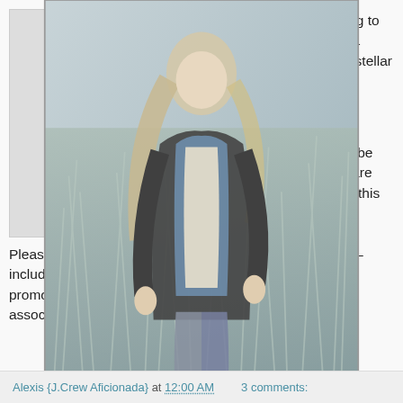[Figure (photo): Fashion photo of a young woman with long blonde hair wearing a denim jacket and dark outer layer, standing in tall grass in a muted, wintry outdoor setting.]
This is the weekly "Looking to VENT with J.Crew" post, a place to share our not-so-stellar experiences with J.Crew.

If you have recently experienced a frustrating situation with J.Crew, maybe you might be willing to share that information with us in this post.
Please feel free to share your story on almost any topic— including poor experiences with purchases & orders, promotions/ offers, in-store visits, transactions with store associates, etc.
Alexis {J.Crew Aficionada} at 12:00 AM    3 comments: